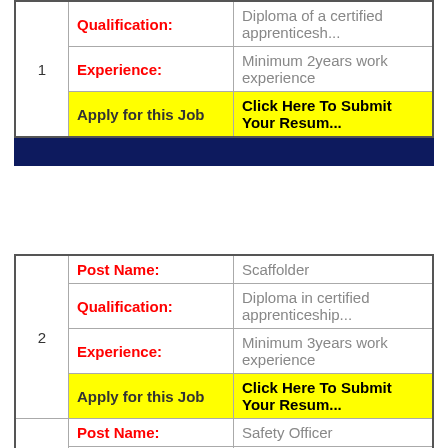| # | Field | Value |
| --- | --- | --- |
| 1 | Qualification: | Diploma of a certified apprenticesh... |
| 1 | Experience: | Minimum 2years work experience |
| 1 | Apply for this Job | Click Here To Submit Your Resum... |
| # | Field | Value |
| --- | --- | --- |
| 2 | Post Name: | Scaffolder |
| 2 | Qualification: | Diploma in certified apprenticeship... |
| 2 | Experience: | Minimum 3years work experience |
| 2 | Apply for this Job | Click Here To Submit Your Resum... |
| 3 | Post Name: | Safety Officer |
| 3 | Qualification: | Diploma or Certification in a safety-... |
| 3 | Experience: | Minimum 3years work experience |